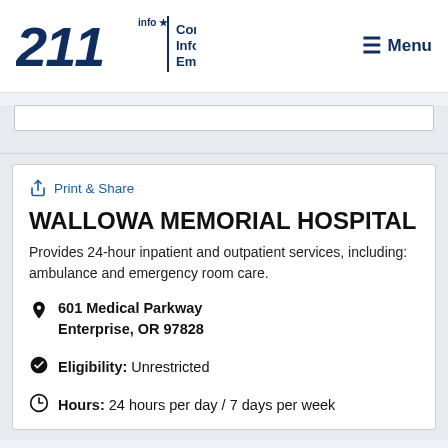[Figure (logo): 211info logo with star and text 'Connect. Inform. Empower.']
Print & Share
WALLOWA MEMORIAL HOSPITAL
Provides 24-hour inpatient and outpatient services, including: ambulance and emergency room care.
601 Medical Parkway
Enterprise, OR 97828
Eligibility: Unrestricted
Hours: 24 hours per day / 7 days per week